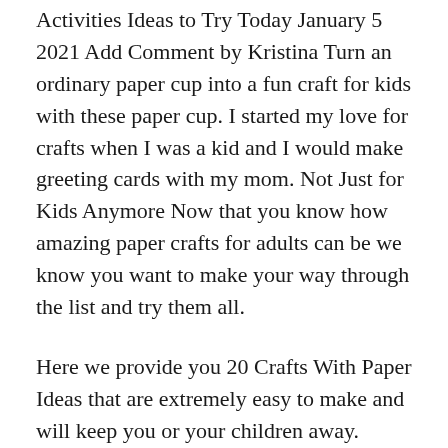Activities Ideas to Try Today January 5 2021 Add Comment by Kristina Turn an ordinary paper cup into a fun craft for kids with these paper cup. I started my love for crafts when I was a kid and I would make greeting cards with my mom. Not Just for Kids Anymore Now that you know how amazing paper crafts for adults can be we know you want to make your way through the list and try them all.
Here we provide you 20 Crafts With Paper Ideas that are extremely easy to make and will keep you or your children away. Amazoncojp has been visited by 1M users in the past month. Continue reading for 22 Easy Paper Craft Ideas